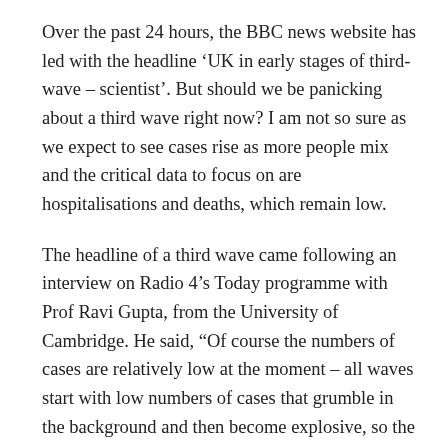Over the past 24 hours, the BBC news website has led with the headline ‘UK in early stages of third-wave – scientist’. But should we be panicking about a third wave right now? I am not so sure as we expect to see cases rise as more people mix and the critical data to focus on are hospitalisations and deaths, which remain low.
The headline of a third wave came following an interview on Radio 4’s Today programme with Prof Ravi Gupta, from the University of Cambridge. He said, “Of course the numbers of cases are relatively low at the moment – all waves start with low numbers of cases that grumble in the background and then become explosive, so the key here is that what we are seeing here is the signs of an early wave.”
Through the pandemic we have seen polarisation within the science community, with some favouring hard-line restrictions, others against any, and many somewhere in